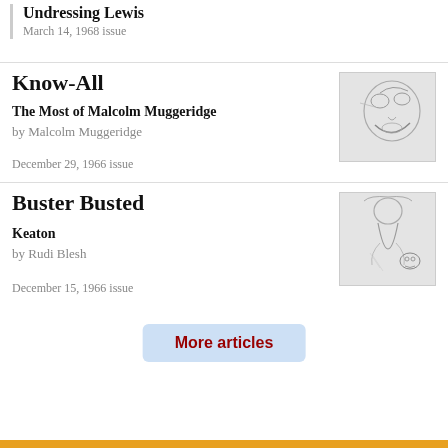Undressing Lewis
March 14, 1968 issue
Know-All
The Most of Malcolm Muggeridge
by Malcolm Muggeridge
December 29, 1966 issue
[Figure (illustration): Pencil sketch illustration of a caricature face, laughing or grimacing]
Buster Busted
Keaton
by Rudi Blesh
December 15, 1966 issue
[Figure (illustration): Pencil sketch illustration of a figure in costume holding a skull]
More articles